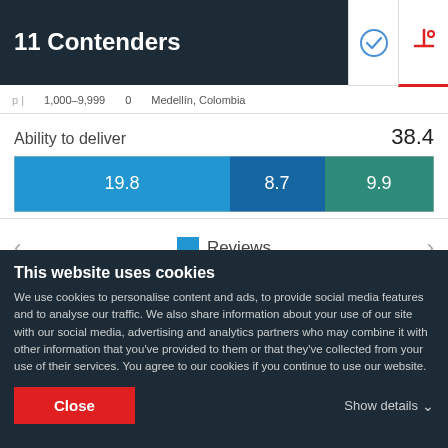11 Contenders
1,000–9,999   0   Medellín, Colombia
Ability to deliver   38.4
[Figure (stacked-bar-chart): Ability to deliver]
Reviews
Service Focus
This website uses cookies
We use cookies to personalise content and ads, to provide social media features and to analyse our traffic. We also share information about your use of our site with our social media, advertising and analytics partners who may combine it with other information that you've provided to them or that they've collected from your use of their services. You agree to our cookies if you continue to use our website.
Close
Show details